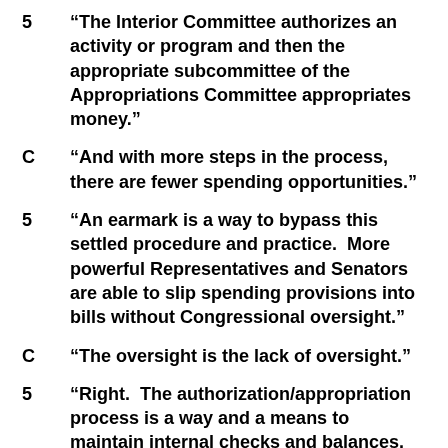5   “The Interior Committee authorizes an activity or program and then the appropriate subcommittee of the Appropriations Committee appropriates money.”
C   “And with more steps in the process, there are fewer spending opportunities.”
5   “An earmark is a way to bypass this settled procedure and practice.  More powerful Representatives and Senators are able to slip spending provisions into bills without Congressional oversight.”
C   “The oversight is the lack of oversight.”
5   “Right.  The authorization/appropriation process is a way and a means to maintain internal checks and balances.  Today, there are too many